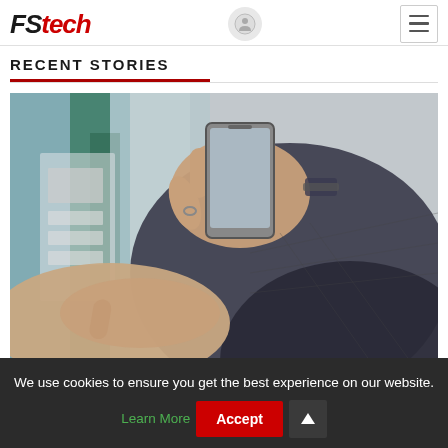FStech
RECENT STORIES
[Figure (photo): Close-up of a person's hands using a smartphone while interacting with a machine or kiosk. Person wearing a dark denim jacket.]
We use cookies to ensure you get the best experience on our website. Learn More  Accept